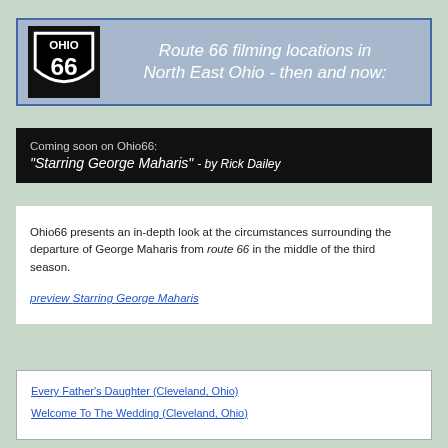[Figure (logo): Ohio State Route 66 shield logo — black shield with 'OHIO' at top and '66' in large numerals, white on black]
Route 66 filming locations in North East Ohio - then and now:
Coming soon on Ohio66: "Starring George Maharis" - by Rick Dailey
Ohio66 presents an in-depth look at the circumstances surrounding the departure of George Maharis from route 66 in the middle of the third season.
preview Starring George Maharis
Every Father's Daughter (Cleveland, Ohio)
Welcome To The Wedding (Cleveland, Ohio)